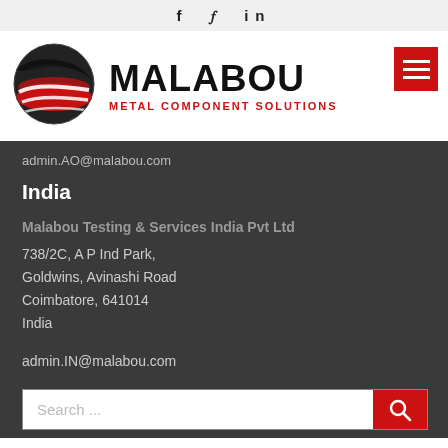f  y  in
[Figure (logo): Malabou Metal Component Solutions logo with globe icon and red hamburger menu button]
admin.AO@malabou.com
India
Malabou Testing & Services India Pvt Ltd
738/2C, A P Ind Park,
Goldwins, Avinashi Road
Coimbatore, 641014
India
admin.IN@malabou.com